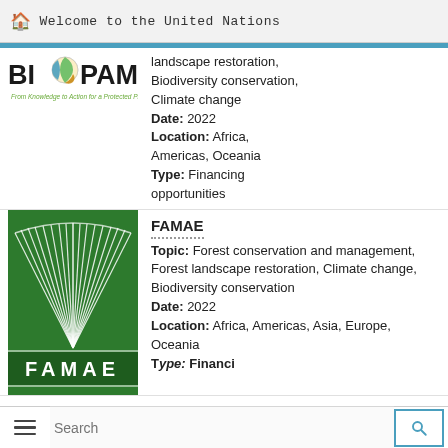Welcome to the United Nations
[Figure (logo): BIOPAMA logo - From Knowledge to Action for a Protected Planet]
landscape restoration, Biodiversity conservation, Climate change
Date: 2022
Location: Africa, Americas, Oceania
Type: Financing opportunities
[Figure (logo): FAMAE logo - green background with white fan/palm design and FAMAE wordmark]
FAMAE
Topic: Forest conservation and management, Forest landscape restoration, Climate change, Biodiversity conservation
Date: 2022
Location: Africa, Americas, Asia, Europe, Oceania
Type: Financing...